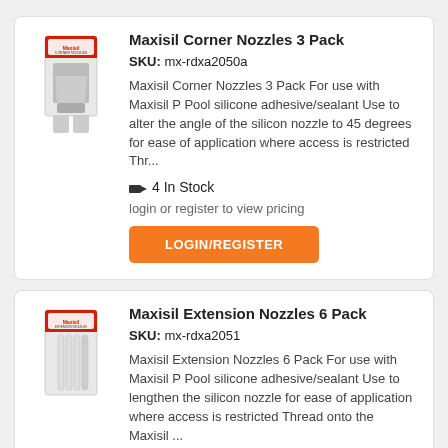Maxisil Corner Nozzles 3 Pack
SKU: mx-rdxa2050a
Maxisil Corner Nozzles 3 Pack For use with Maxisil P Pool silicone adhesive/sealant Use to alter the angle of the silicon nozzle to 45 degrees for ease of application where access is restricted Thr...
4 In Stock
login or register to view pricing
LOGIN/REGISTER
Maxisil Extension Nozzles 6 Pack
SKU: mx-rdxa2051
Maxisil Extension Nozzles 6 Pack For use with Maxisil P Pool silicone adhesive/sealant Use to lengthen the silicon nozzle for ease of application where access is restricted Thread onto the Maxisil ...
5 In Stock
login or register to view pricing